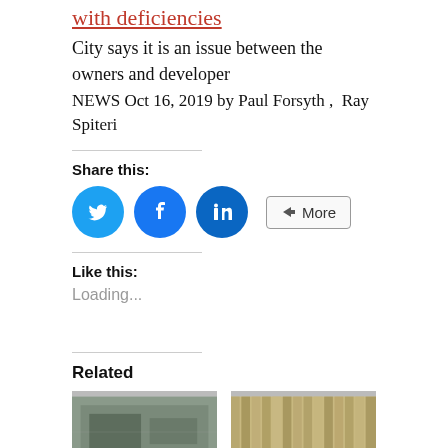with deficiencies
City says it is an issue between the owners and developer
NEWS Oct 16, 2019 by Paul Forsyth ,  Ray Spiteri
Share this:
[Figure (other): Social sharing buttons: Twitter, Facebook, LinkedIn circles and a More button]
Like this:
Loading...
Related
[Figure (photo): Two related article thumbnail images side by side]